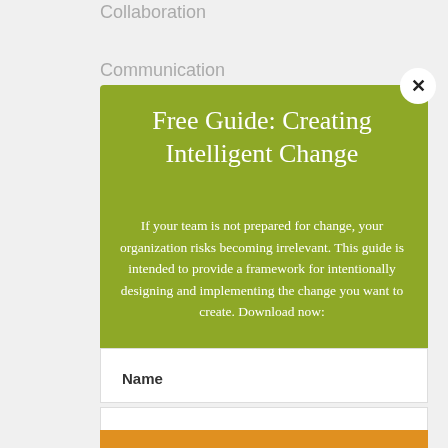Collaboration
Communication
Free Guide: Creating Intelligent Change
If your team is not prepared for change, your organization risks becoming irrelevant. This guide is intended to provide a framework for intentionally designing and implementing the change you want to create. Download now:
Name
Email